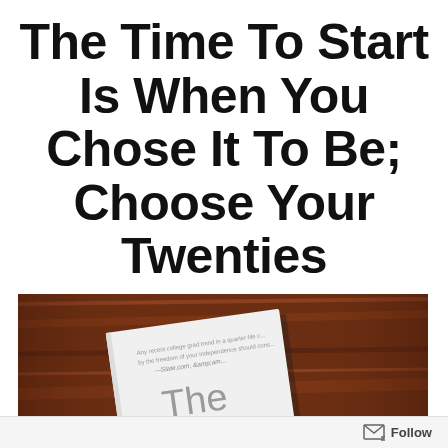The Time To Start Is When You Chose It To Be; Choose Your Twenties
[Figure (photo): A copy of the book 'The Defining Decade: Why your twenties matter-' lying on a wooden surface, photographed at a slight angle. The book cover is white with large grey text reading 'The Defining Decade' and smaller text 'Why your twenties matter-'. There is a small yellow dot on the letter 'i' in 'Defining'.]
Follow